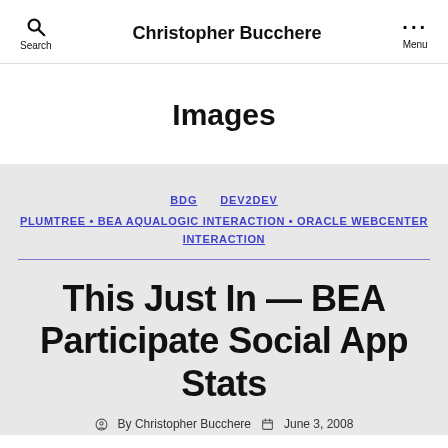Christopher Bucchere
Images
BDG  DEV2DEV
PLUMTREE • BEA AQUALOGIC INTERACTION • ORACLE WEBCENTER INTERACTION
This Just In — BEA Participate Social App Stats
By Christopher Bucchere  June 3, 2008